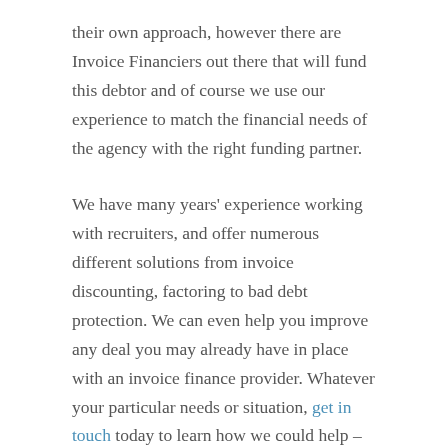their own approach, however there are Invoice Financiers out there that will fund this debtor and of course we use our experience to match the financial needs of the agency with the right funding partner.
We have many years' experience working with recruiters, and offer numerous different solutions from invoice discounting, factoring to bad debt protection. We can even help you improve any deal you may already have in place with an invoice finance provider. Whatever your particular needs or situation, get in touch today to learn how we could help – we'll discuss your options for adapting to these challenging times.